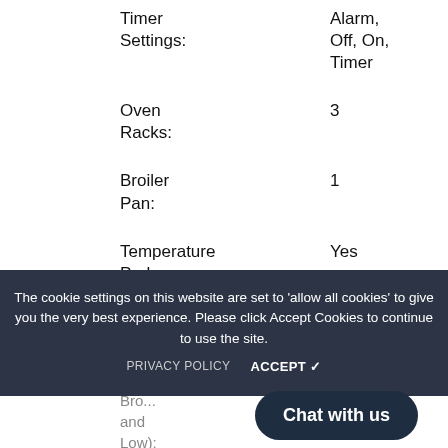Timer Settings: Alarm, Off, On, Timer
Oven Racks: 3
Broiler Pan: 1
Temperature Probe: Yes
Cooking Modes:
The cookie settings on this website are set to 'allow all cookies' to give you the very best experience. Please click Accept Cookies to continue to use the site.
PRIVACY POLICY   ACCEPT ✓
Vari...
Bro... and Low):
Chat with us